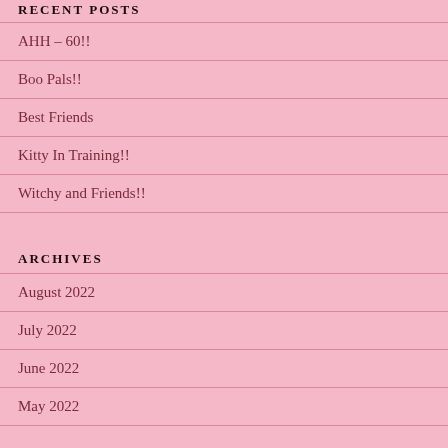RECENT POSTS
AHH – 60!!
Boo Pals!!
Best Friends
Kitty In Training!!
Witchy and Friends!!
ARCHIVES
August 2022
July 2022
June 2022
May 2022